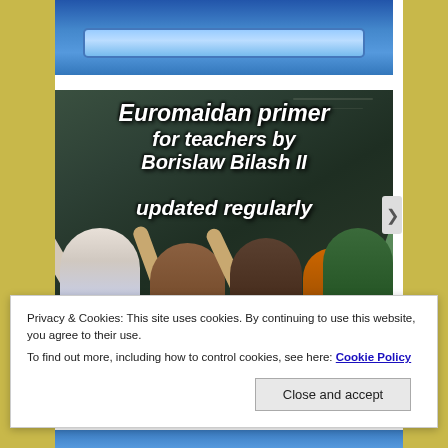[Figure (photo): Top portion of a webpage showing a blue banner at the top, then a classroom photo with students raising hands in front of a chalkboard. Text overlaid on the chalkboard reads: 'Euromaidan primer for teachers by Borislaw Bilash II updated regularly']
Privacy & Cookies: This site uses cookies. By continuing to use this website, you agree to their use.
To find out more, including how to control cookies, see here: Cookie Policy
Close and accept